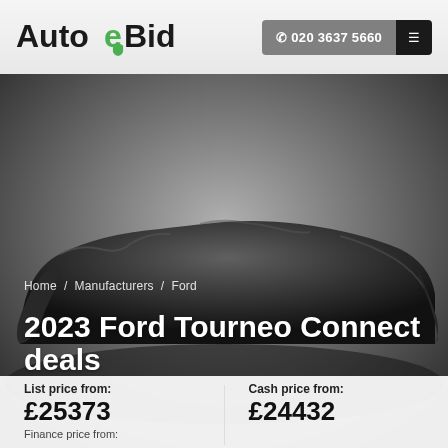[Figure (logo): AutoeBid logo with green shield and 'e' letter]
☎ 020 3637 5660
[Figure (photo): A car covered with a dark cloth/drape, viewed from the side, against a grey background]
Home / Manufacturers / Ford
2023 Ford Tourneo Connect deals
List price from:
£25373
Cash price from:
£24432
Finance price from: